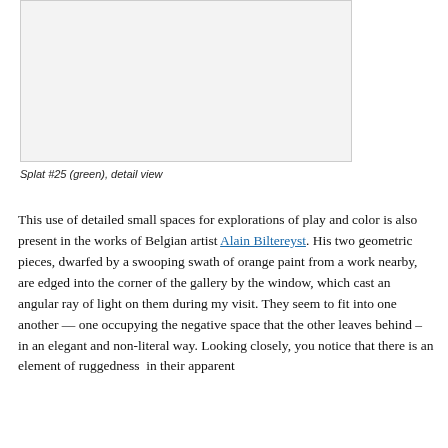[Figure (photo): A light grey/white rectangle representing an artwork image placeholder — Splat #25 (green), detail view]
Splat #25 (green), detail view
This use of detailed small spaces for explorations of play and color is also present in the works of Belgian artist Alain Biltereyst. His two geometric pieces, dwarfed by a swooping swath of orange paint from a work nearby, are edged into the corner of the gallery by the window, which cast an angular ray of light on them during my visit. They seem to fit into one another — one occupying the negative space that the other leaves behind – in an elegant and non-literal way. Looking closely, you notice that there is an element of ruggedness in their apparent